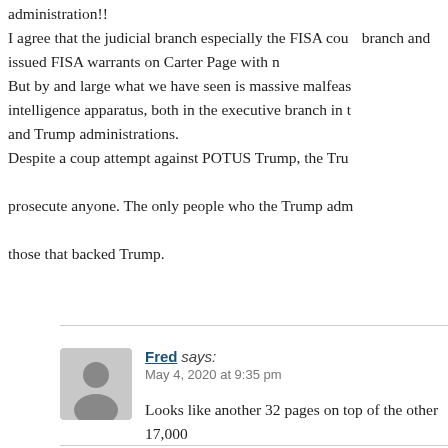administration!! I agree that the judicial branch especially the FISA court colluded with the executive branch and issued FISA warrants on Carter Page with no basis. But by and large what we have seen is massive malfeasance within the intelligence apparatus, both in the executive branch in the Obama and Trump administrations. Despite a coup attempt against POTUS Trump, the Trump DOJ failed to prosecute anyone. The only people who the Trump administration injured were those that backed Trump.
Fred says: May 4, 2020 at 9:35 pm
Looks like another 32 pages on top of the other 17,000+ pages. What is Barr is doing?
https://twitter.com/SidneyPowell1/status/12574034670